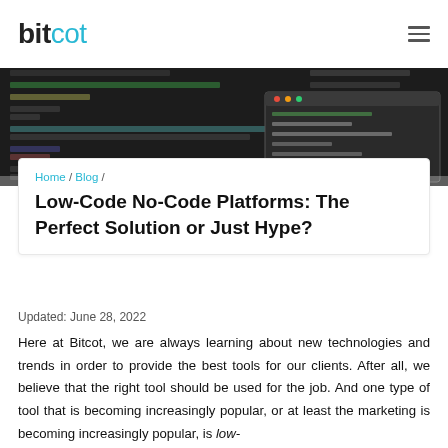bitcot
[Figure (screenshot): Dark-themed code editor screenshot showing JavaScript/HTML code with a terminal window overlay]
Home / Blog /
Low-Code No-Code Platforms: The Perfect Solution or Just Hype?
Updated: June 28, 2022
Here at Bitcot, we are always learning about new technologies and trends in order to provide the best tools for our clients. After all, we believe that the right tool should be used for the job. And one type of tool that is becoming increasingly popular, or at least the marketing is becoming increasingly popular, is low-